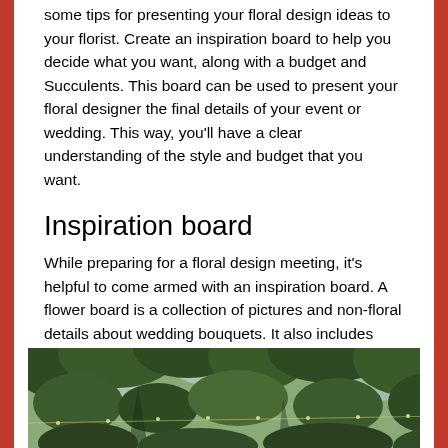some tips for presenting your floral design ideas to your florist. Create an inspiration board to help you decide what you want, along with a budget and Succulents. This board can be used to present your floral designer the final details of your event or wedding. This way, you'll have a clear understanding of the style and budget that you want.
Inspiration board
While preparing for a floral design meeting, it's helpful to come armed with an inspiration board. A flower board is a collection of pictures and non-floral details about wedding bouquets. It also includes trends. A floral board is not a shopping guide, but it is useful to have a starting place from which to work. The floral design boards' photos and ideas may not be the final design you choose.
[Figure (photo): Outdoor photo showing green tree foliage with glimpses of sky between the branches, taken from below looking up.]